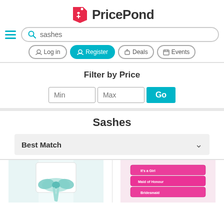[Figure (logo): PricePond logo with a red price-tag icon and the text PricePond]
sashes
Log in | Register | Deals | Events
Filter by Price
Min  Max  Go
Sashes
Best Match
[Figure (photo): Mint green satin chair sash tied in a bow on a white chair]
[Figure (photo): Hot pink satin sashes stacked showing printed text]